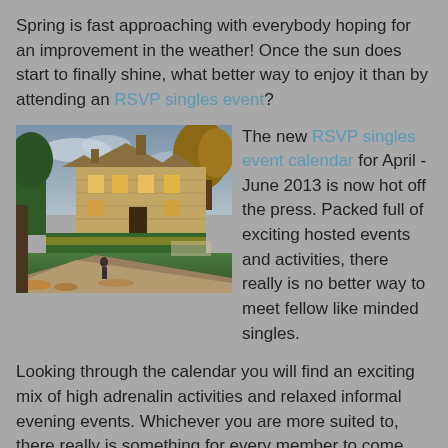Spring is fast approaching with everybody hoping for an improvement in the weather! Once the sun does start to finally shine, what better way to enjoy it than by attending an RSVP singles event?
[Figure (photo): Photograph of a large stone manor house with manicured hedges, green lawn, autumn trees, and a driveway in the foreground. Evening/dusk lighting.]
The new RSVP singles event calendar for April - June 2013 is now hot off the press. Packed full of exciting hosted events and activities, there really is no better way to meet fellow like minded singles.
Looking through the calendar you will find an exciting mix of high adrenalin activities and relaxed informal evening events. Whichever you are more suited to, there really is something for every member to come along to and enjoy.